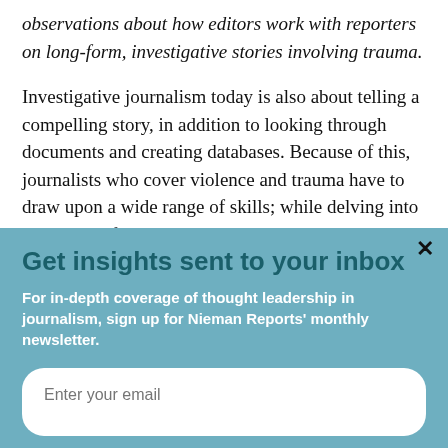observations about how editors work with reporters on long-form, investigative stories involving trauma.
Investigative journalism today is also about telling a compelling story, in addition to looking through documents and creating databases. Because of this, journalists who cover violence and trauma have to draw upon a wide range of skills; while delving into a person's often tragic story,
Get insights sent to your inbox
For in-depth coverage of thought leadership in journalism, sign up for Nieman Reports' monthly newsletter.
Enter your email
Sign me up!
powered by MailMunch